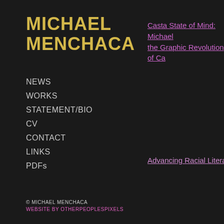MICHAEL MENCHACA
NEWS
WORKS
STATEMENT/BIO
CV
CONTACT
LINKS
PDFs
Casta State of Mind: Michael the Graphic Revolution of Ca
Advancing Racial Literacy In T
© MICHAEL MENCHACA
WEBSITE BY OTHERPEOPLESPIXELS